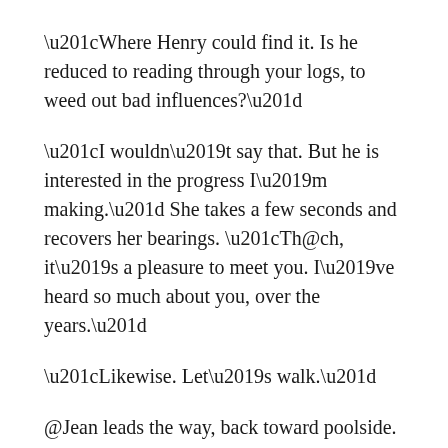“Where Henry could find it.  Is he reduced to reading through your logs, to weed out bad influences?”
“I wouldn’t say that.  But he is interested in the progress I’m making.”  She takes a few seconds and recovers her bearings.  “Th@ch, it’s a pleasure to meet you.  I’ve heard so much about you, over the years.”
“Likewise.  Let’s walk.”
@Jean leads the way, back toward poolside.  Th@ch steps out of the blinding sunlight and takes up alongside her.  She sneaks a peak at Th@ch’s render: slim figure — muscular but not masculine, curved but not feminine.  More gender-neutral than gender-free, but she supposes this is the best ones and zeroes can do.